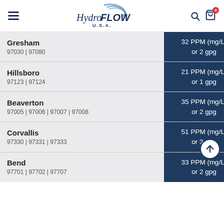HydroFLOW U.S.A.
| City / ZIP Codes | Hardness |
| --- | --- |
| Gresham
97030 | 97080 | 32 PPM (mg/L) or 2 gpg |
| Hillsboro
97123 | 97124 | 21 PPM (mg/L) or 1 gpg |
| Beaverton
97005 | 97006 | 97007 | 97008 | 35 PPM (mg/L) or 2 gpg |
| Corvallis
97330 | 97331 | 97333 | 51 PPM (mg/L) or 3 gpg |
| Bend
97701 | 97702 | 97707 | 33 PPM (mg/L) or 2 gpg |